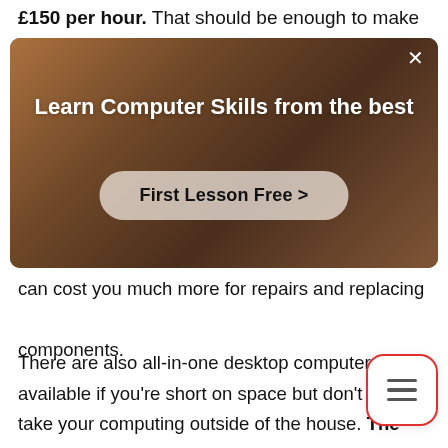£150 per hour. That should be enough to make you
[Figure (screenshot): Advertisement banner with dark warm-toned background showing a person. Title reads 'Learn Computer Skills from the best' with a 'First Lesson Free >' button and an X close button.]
can cost you much more for repairs and replacing components.
There are also all-in-one desktop computers available if you're short on space but don't need to take your computing outside of the house. The can still connect to peripheral devices but as a single unit.